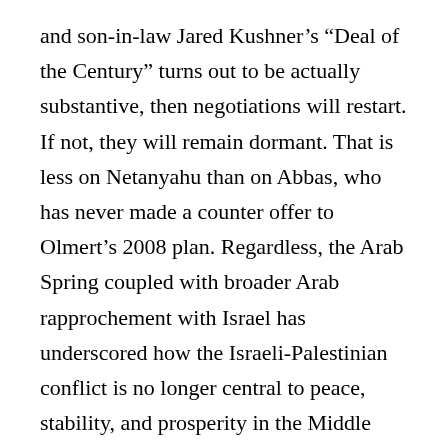and son-in-law Jared Kushner’s “Deal of the Century” turns out to be actually substantive, then negotiations will restart. If not, they will remain dormant. That is less on Netanyahu than on Abbas, who has never made a counter offer to Olmert’s 2008 plan. Regardless, the Arab Spring coupled with broader Arab rapprochement with Israel has underscored how the Israeli-Palestinian conflict is no longer central to peace, stability, and prosperity in the Middle East. The plight of Syrian refugees, China’s repression of Uighurs, and Libyan chaos are all more pressing.
It is one of Netanyahu’s other policies that should most concern U.S. policymakers and Congress.